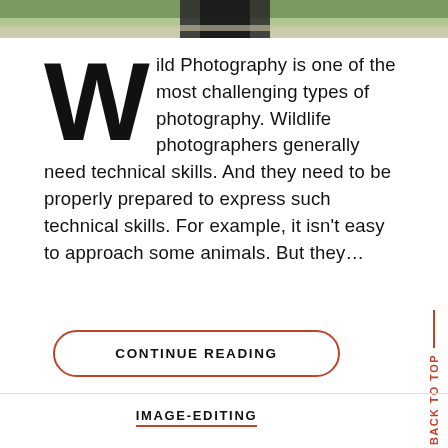[Figure (photo): Top strip of a wildlife/nature photo showing an animal in a grassy outdoor setting]
Wild Photography is one of the most challenging types of photography. Wildlife photographers generally need technical skills. And they need to be properly prepared to express such technical skills. For example, it isn't easy to approach some animals. But they...
CONTINUE READING
BACK TO TOP
IMAGE-EDITING